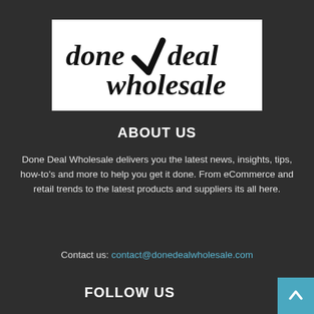[Figure (logo): Done Deal Wholesale logo — white rectangle with italic black text 'done deal wholesale' and a large black checkmark between 'done' and 'deal']
ABOUT US
Done Deal Wholesale delivers you the latest news, insights, tips, how-to's and more to help you get it done. From eCommerce and retail trends to the latest products and suppliers its all here.
Contact us: contact@donedealwholesale.com
FOLLOW US